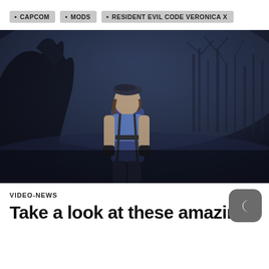• CAPCOM
• MODS
• RESIDENT EVIL CODE VERONICA X
[Figure (photo): A female character in a blue top and tactical gear with a beret, standing in a dark foggy forest with bare trees and a large dark mechanical or creature silhouette behind her. Scene is from a Resident Evil video game mod, rendered in dark blue/grey tones.]
VIDEO-NEWS
Take a look at these amazing features of Resident Evil 3...